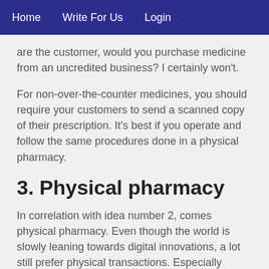Home   Write For Us   Login
are the customer, would you purchase medicine from an uncredited business? I certainly won't.
For non-over-the-counter medicines, you should require your customers to send a scanned copy of their prescription. It's best if you operate and follow the same procedures done in a physical pharmacy.
3. Physical pharmacy
In correlation with idea number 2, comes physical pharmacy. Even though the world is slowly leaning towards digital innovations, a lot still prefer physical transactions. Especially people who aren't well-versed in technology.